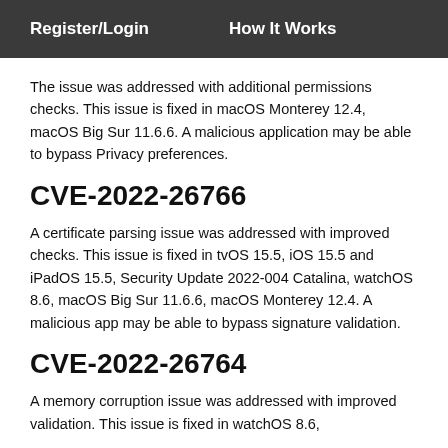Register/Login   How It Works
The issue was addressed with additional permissions checks. This issue is fixed in macOS Monterey 12.4, macOS Big Sur 11.6.6. A malicious application may be able to bypass Privacy preferences.
CVE-2022-26766
A certificate parsing issue was addressed with improved checks. This issue is fixed in tvOS 15.5, iOS 15.5 and iPadOS 15.5, Security Update 2022-004 Catalina, watchOS 8.6, macOS Big Sur 11.6.6, macOS Monterey 12.4. A malicious app may be able to bypass signature validation.
CVE-2022-26764
A memory corruption issue was addressed with improved validation. This issue is fixed in watchOS 8.6...